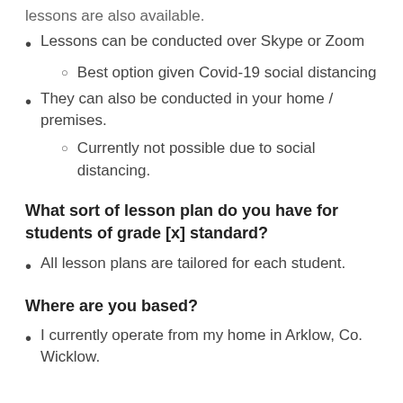lessons are also available.
Lessons can be conducted over Skype or Zoom
Best option given Covid-19 social distancing
They can also be conducted in your home / premises.
Currently not possible due to social distancing.
What sort of lesson plan do you have for students of grade [x] standard?
All lesson plans are tailored for each student.
Where are you based?
I currently operate from my home in Arklow, Co. Wicklow.